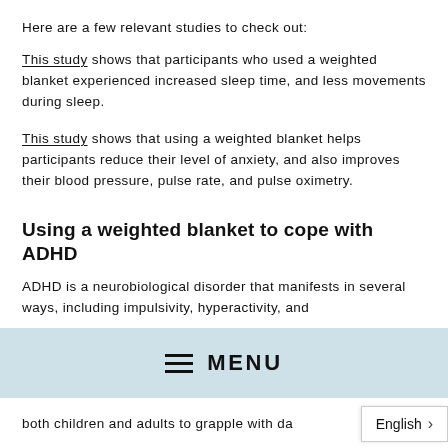Here are a few relevant studies to check out:
This study shows that participants who used a weighted blanket experienced increased sleep time, and less movements during sleep.
This study shows that using a weighted blanket helps participants reduce their level of anxiety, and also improves their blood pressure, pulse rate, and pulse oximetry.
Using a weighted blanket to cope with ADHD
ADHD is a neurobiological disorder that manifests in several ways, including impulsivity, hyperactivity, and
[Figure (other): Mobile navigation menu bar with hamburger icon and MENU label on a light blue background]
both children and adults to grapple with da